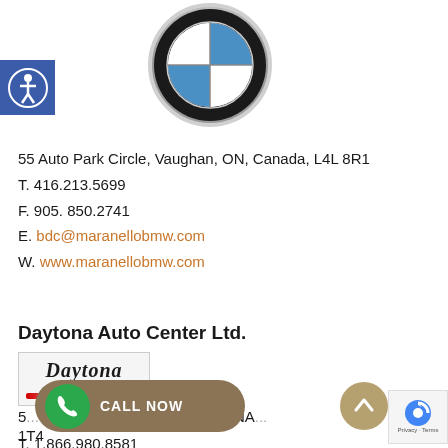[Figure (logo): BMW roundel logo with blue and white quadrants, black ring, silver border]
[Figure (logo): Accessibility icon (person in circle) on blue square background]
55 Auto Park Circle, Vaughan, ON, Canada, L4L 8R1
T. 416.213.5699
F. 905. 850.2741
E. bdc@maranellobmw.com
W. www.maranellobmw.com
Daytona Auto Center Ltd.
[Figure (logo): Daytona Auto Centre Ltd. logo with stylized script text]
5... WOODBRIDGE, ON, CANA... 1T4
T. 1.866.980.8581